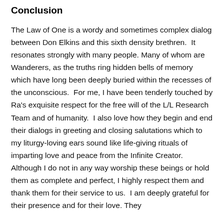Conclusion
The Law of One is a wordy and sometimes complex dialog between Don Elkins and this sixth density brethren.  It resonates strongly with many people. Many of whom are Wanderers, as the truths ring hidden bells of memory which have long been deeply buried within the recesses of the unconscious.  For me, I have been tenderly touched by Ra's exquisite respect for the free will of the L/L Research Team and of humanity.  I also love how they begin and end their dialogs in greeting and closing salutations which to my liturgy-loving ears sound like life-giving rituals of imparting love and peace from the Infinite Creator.  Although I do not in any way worship these beings or hold them as complete and perfect, I highly respect them and thank them for their service to us.  I am deeply grateful for their presence and for their love. They